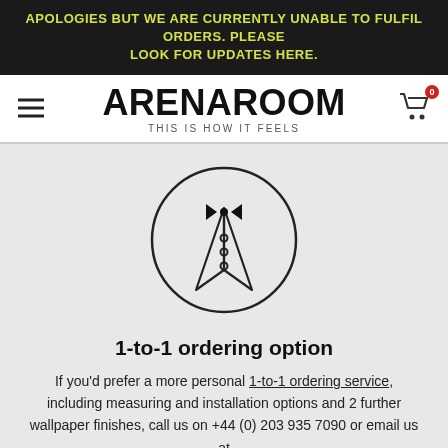APOLOGIES BUT WE ARE CURRENTLY UNABLE TO FULFIL ORDERS. PLEASE LOOK FOR UPDATES HERE.
[Figure (logo): ArenaRoom logo with hamburger menu on left and cart icon with badge 0 on right. Logo text: ARENAROOM, subtitle: THIS IS HOW IT FEELS]
[Figure (illustration): Tuxedo/butler icon inside a circle — shows a bowtie, V-shaped lapels, and three buttons]
1-to-1 ordering option
If you'd prefer a more personal 1-to-1 ordering service, including measuring and installation options and 2 further wallpaper finishes, call us on +44 (0) 203 935 7090 or email us at hello@arenaroom.com